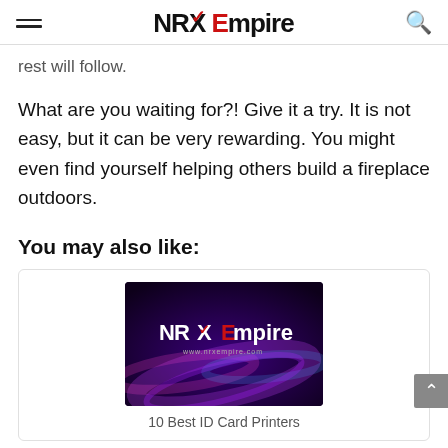NRX Empire
rest will follow.
What are you waiting for?! Give it a try. It is not easy, but it can be very rewarding. You might even find yourself helping others build a fireplace outdoors.
You may also like:
[Figure (screenshot): NRX Empire logo on dark purple background with colorful light streaks]
10 Best ID Card Printers